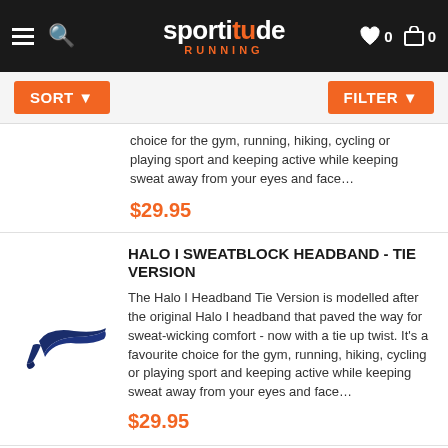sportitude RUNNING
SORT ▾
FILTER ▾
choice for the gym, running, hiking, cycling or playing sport and keeping active while keeping sweat away from your eyes and face…
$29.95
HALO I SWEATBLOCK HEADBAND - TIE VERSION
The Halo I Headband Tie Version is modelled after the original Halo I headband that paved the way for sweat-wicking comfort - now with a tie up twist. It's a favourite choice for the gym, running, hiking, cycling or playing sport and keeping active while keeping sweat away from your eyes and face…
$29.95
HALO I SWEATBLOCK HEADBAND - TIE VERSION